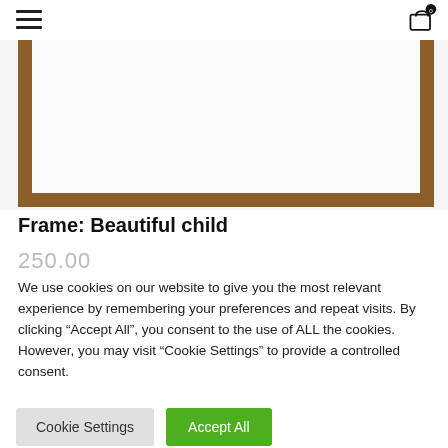Navigation header with hamburger menu and cart icon (0 items)
[Figure (photo): Wooden picture frame (brown/tan wood border) with white interior, partially visible product image of a framed artwork.]
Frame: Beautiful child
250.00
We use cookies on our website to give you the most relevant experience by remembering your preferences and repeat visits. By clicking “Accept All”, you consent to the use of ALL the cookies. However, you may visit "Cookie Settings" to provide a controlled consent.
Cookie Settings | Accept All